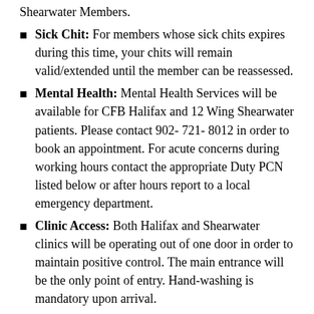Shearwater Members.
Sick Chit: For members whose sick chits expires during this time, your chits will remain valid/extended until the member can be reassessed.
Mental Health: Mental Health Services will be available for CFB Halifax and 12 Wing Shearwater patients. Please contact 902- 721- 8012 in order to book an appointment. For acute concerns during working hours contact the appropriate Duty PCN listed below or after hours report to a local emergency department.
Clinic Access: Both Halifax and Shearwater clinics will be operating out of one door in order to maintain positive control. The main entrance will be the only point of entry. Hand-washing is mandatory upon arrival.
Pharmacy: The pharmacy in Halifax and Shearwater will remain open from 0730-1530 until further notice. If you require refills for you medication please call the